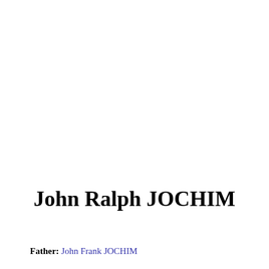John Ralph JOCHIM
Father: John Frank JOCHIM